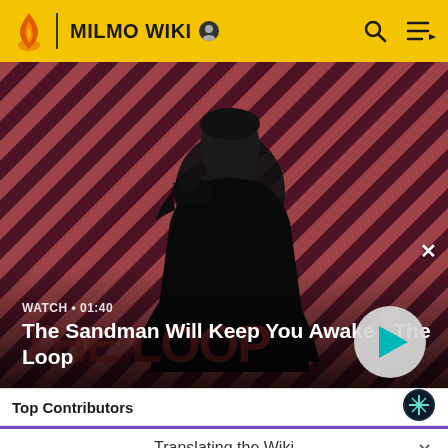MILMO WIKI
[Figure (screenshot): Video banner showing The Sandman character with raven on shoulder against diagonal striped red/dark background. Text overlay: WATCH • 01:40, The Sandman Will Keep You Awake - The Loop]
Top Contributors
Translating the Wiki
MilMo Wiki now has translation support, if you is interested in helping translating check the project page. Translation Projects